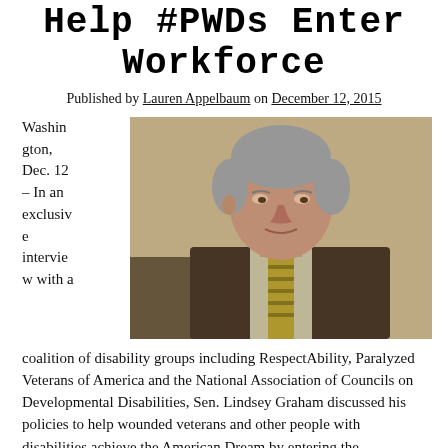Help #PWDs Enter Workforce
Published by Lauren Appelbaum on December 12, 2015
[Figure (photo): A middle-aged man in a brown suit and striped tie, seated, photographed from the side/front in an indoor setting with warm beige background.]
Washington, Dec. 12 – In an exclusive interview with a coalition of disability groups including RespectAbility, Paralyzed Veterans of America and the National Association of Councils on Developmental Disabilities, Sen. Lindsey Graham discussed his policies to help wounded veterans and other people with disabilities achieve the American Dream by entering the workforce.